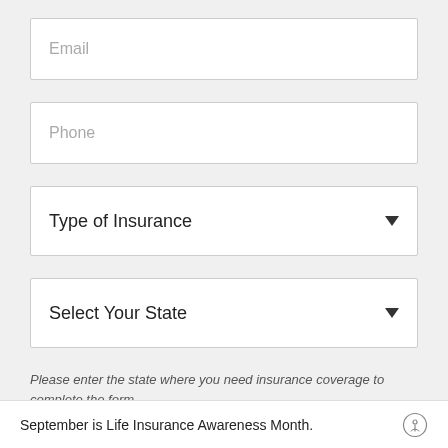Email
Phone
Type of Insurance
Select Your State
Please enter the state where you need insurance coverage to complete the form.
September is Life Insurance Awareness Month.